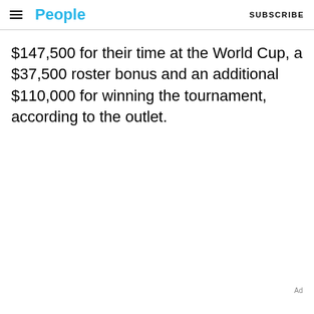People | SUBSCRIBE
$147,500 for their time at the World Cup, a $37,500 roster bonus and an additional $110,000 for winning the tournament, according to the outlet.
Ad